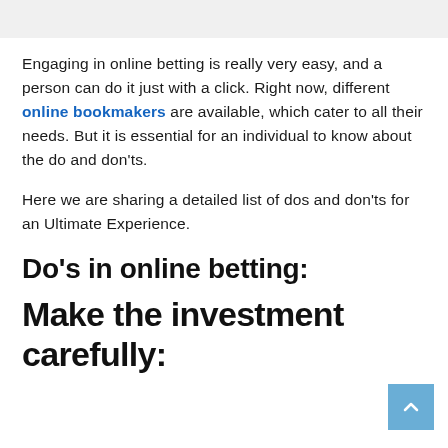Engaging in online betting is really very easy, and a person can do it just with a click. Right now, different online bookmakers are available, which cater to all their needs. But it is essential for an individual to know about the do and don'ts.
Here we are sharing a detailed list of dos and don'ts for an Ultimate Experience.
Do's in online betting:
Make the investment carefully: